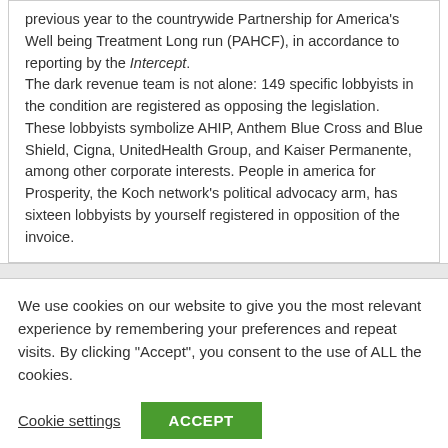previous year to the countrywide Partnership for America's Well being Treatment Long run (PAHCF), in accordance to reporting by the Intercept.

The dark revenue team is not alone: 149 specific lobbyists in the condition are registered as opposing the legislation. These lobbyists symbolize AHIP, Anthem Blue Cross and Blue Shield, Cigna, UnitedHealth Group, and Kaiser Permanente, among other corporate interests. People in america for Prosperity, the Koch network's political advocacy arm, has sixteen lobbyists by yourself registered in opposition of the invoice.
We use cookies on our website to give you the most relevant experience by remembering your preferences and repeat visits. By clicking "Accept", you consent to the use of ALL the cookies.